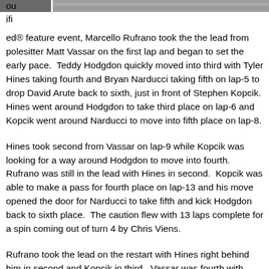[Figure (photo): Partial photo strip at top of page, showing what appears to be a racing scene, partially cropped.]
ou
ifi
ed® feature event, Marcello Rufrano took the the lead from polesitter Matt Vassar on the first lap and began to set the early pace.  Teddy Hodgdon quickly moved into third with Tyler Hines taking fourth and Bryan Narducci taking fifth on lap-5 to drop David Arute back to sixth, just in front of Stephen Kopcik.  Hines went around Hodgdon to take third place on lap-6 and Kopcik went around Narducci to move into fifth place on lap-8.
Hines took second from Vassar on lap-9 while Kopcik was looking for a way around Hodgdon to move into fourth.  Rufrano was still in the lead with Hines in second.  Kopcik was able to make a pass for fourth place on lap-13 and his move opened the door for Narducci to take fifth and kick Hodgdon back to sixth place.  The caution flew with 13 laps complete for a spin coming out of turn 4 by Chris Viens.
Rufrano took the lead on the restart with Hines right behind him in second and Kopcik in third.  Vassar was fourth with Narducci holding off the side by side duo of Hodgdon and Michael Christopher, Jr. for